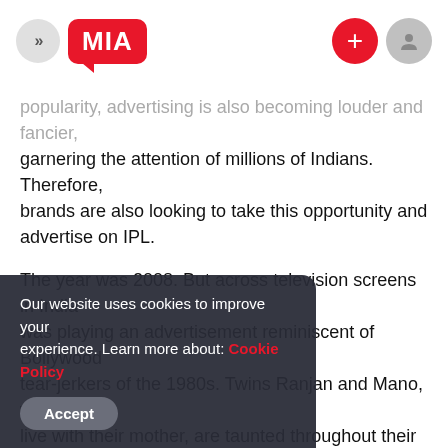MIA
popularity, advertising is also becoming louder and fancier, garnering the attention of millions of Indians. Therefore, brands are also looking to take this opportunity and advertise on IPL.
The year was 2008. But across television screens in India was playing an advertisement reminiscent of Bollywood tear-jerkers of the 1980s. Twins Ranjan and Mano, who live with their mother, are taunted throughout their young lives because they don't have a father. Unable to bear the humiliation, their mother is about to commit suicide one day when she is stopped by her children, who tell them that their father has arrived. The television screen at their home then flashes the words "Manoj ka baap" — a clever take on the Hindi word for entertainment. And that is how the Indian Premier League first arrived on our screens, promising the action of sports with a dash of
Our website uses cookies to improve your experience. Learn more about: Cookie Policy
Accept